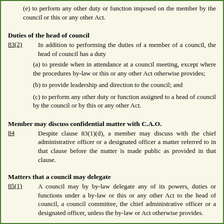(e) to perform any other duty or function imposed on the member by the council or this or any other Act.
Duties of the head of council
83(2)  In addition to performing the duties of a member of a council, the head of council has a duty
(a) to preside when in attendance at a council meeting, except where the procedures by-law or this or any other Act otherwise provides;
(b) to provide leadership and direction to the council; and
(c) to perform any other duty or function assigned to a head of council by the council or by this or any other Act.
Member may discuss confidential matter with C.A.O.
84  Despite clause 83(1)(d), a member may discuss with the chief administrative officer or a designated officer a matter referred to in that clause before the matter is made public as provided in that clause.
Matters that a council may delegate
85(1)  A council may by by-law delegate any of its powers, duties or functions under a by-law or this or any other Act to the head of council, a council committee, the chief administrative officer or a designated officer, unless the by-law or Act otherwise provides.
Matters that a council may not delegate